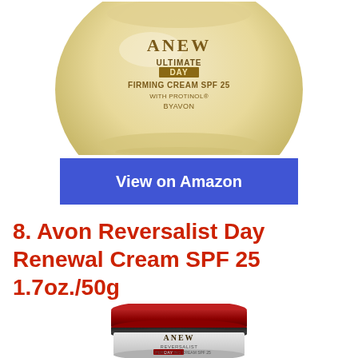[Figure (photo): Avon Anew Ultimate Day Firming Cream SPF 25 with Protinol product jar, gold/cream colored, top portion visible on white background]
View on Amazon
8. Avon Reversalist Day Renewal Cream SPF 25 1.7oz./50g
[Figure (photo): Avon Anew Reversalist Day Perfecting Cream SPF 25 product jar with dark red/maroon lid, white container, partially visible at bottom of page]